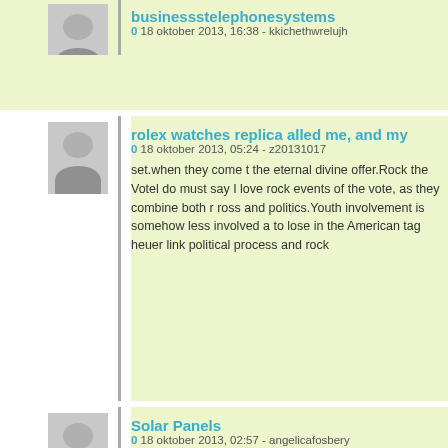businessstelephonesystems
0 18 oktober 2013, 16:38 - kkichethwrelujh
rolex watches replica alled me, and my
0 18 oktober 2013, 05:24 - z20131017
set.when they come t the eternal divine offer.Rock the Votel do must say I love rock events of the vote, as they combine both r ross and politics.Youth involvement is somehow less involved a to lose in the American tag heuer link political process and rock
Solar Panels
0 18 oktober 2013, 02:57 - angelicafosbery